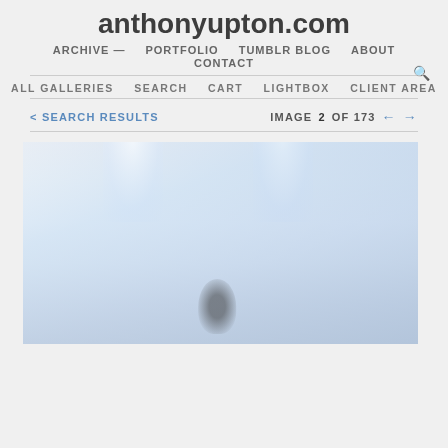anthonyupton.com
ARCHIVE — PORTFOLIO TUMBLR BLOG ABOUT CONTACT
ALL GALLERIES SEARCH CART LIGHTBOX CLIENT AREA
< SEARCH RESULTS   IMAGE 2 OF 173  ← →
[Figure (photo): Concert stage photo showing a performer on stage with dramatic spotlights from above, misty atmosphere, light blue/white tones]